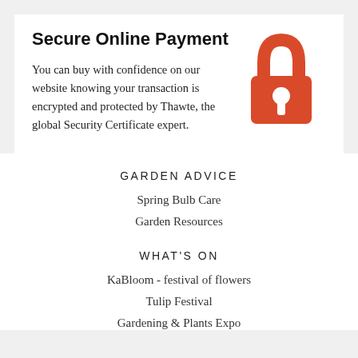Secure Online Payment
You can buy with confidence on our website knowing your transaction is encrypted and protected by Thawte, the global Security Certificate expert.
[Figure (illustration): Red padlock icon representing secure payment]
GARDEN ADVICE
Spring Bulb Care
Garden Resources
WHAT'S ON
KaBloom - festival of flowers
Tulip Festival
Gardening & Plants Expo